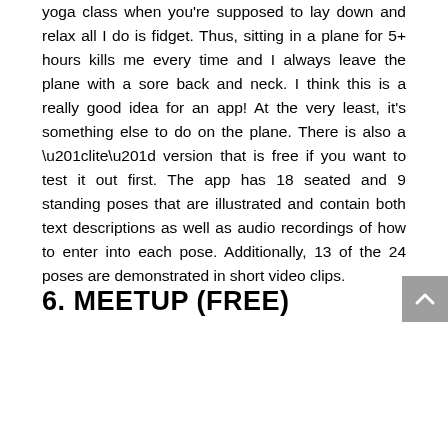yoga class when you're supposed to lay down and relax all I do is fidget. Thus, sitting in a plane for 5+ hours kills me every time and I always leave the plane with a sore back and neck. I think this is a really good idea for an app! At the very least, it's something else to do on the plane. There is also a “lite” version that is free if you want to test it out first. The app has 18 seated and 9 standing poses that are illustrated and contain both text descriptions as well as audio recordings of how to enter into each pose. Additionally, 13 of the 24 poses are demonstrated in short video clips.
6. MEETUP (FREE)